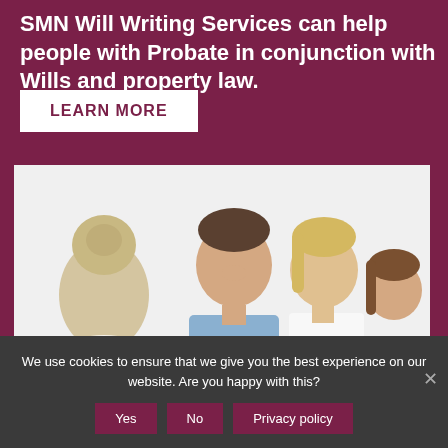SMN Will Writing Services can help people with Probate in conjunction with Wills and property law.
LEARN MORE
[Figure (photo): A family (man, woman, and young girl) sitting across from a professional woman at a table, reviewing documents together. The consultant appears to be guiding them through paperwork.]
We use cookies to ensure that we give you the best experience on our website. Are you happy with this?
Yes
No
Privacy policy